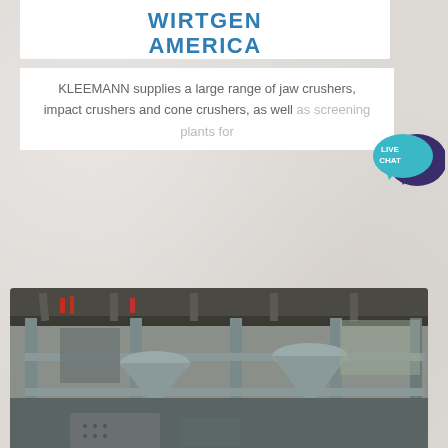WIRTGEN AMERICA
KLEEMANN supplies a large range of jaw crushers, impact crushers and cone crushers, as well as screening plants for
[Figure (photo): Industrial crushing/screening plant equipment inside a facility, showing metal framework, structural steel beams, cone crushers, and heavy machinery in a warehouse-type building]
[Figure (illustration): Live Chat speech bubble icon in teal/cyan with white text reading LIVE CHAT, with a dark navy speech bubble behind it]